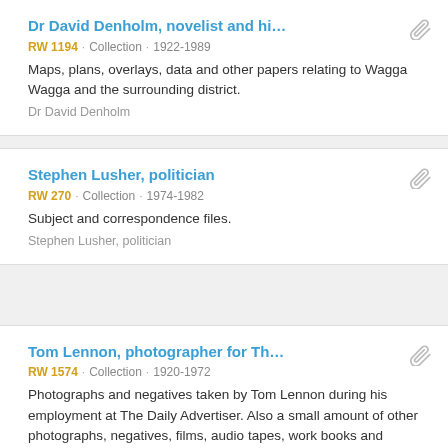Dr David Denholm, novelist and hi... | RW 1194 · Collection · 1922-1989 | Maps, plans, overlays, data and other papers relating to Wagga Wagga and the surrounding district. | Dr David Denholm
Stephen Lusher, politician | RW 270 · Collection · 1974-1982 | Subject and correspondence files. | Stephen Lusher, politician
Tom Lennon, photographer for Th... | RW 1574 · Collection · 1920-1972 | Photographs and negatives taken by Tom Lennon during his employment at The Daily Advertiser. Also a small amount of other photographs, negatives, films, audio tapes, work books and ephemera belonging to Tom Lennon.